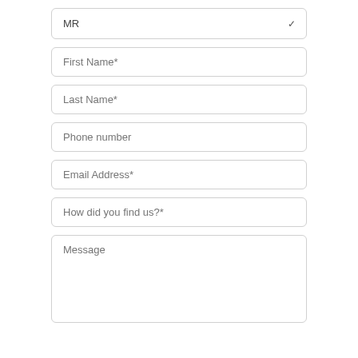MR (dropdown select)
First Name*
Last Name*
Phone number
Email Address*
How did you find us?*
Message